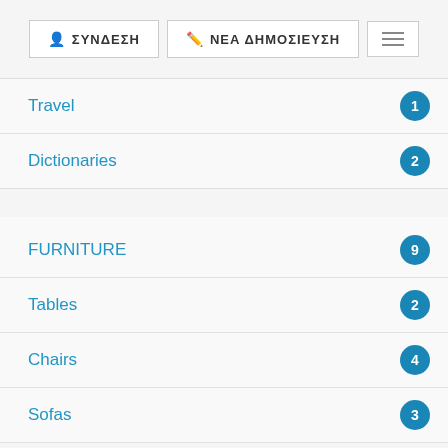ΣΥΝΔΕΣΗ | ΝΕΑ ΔΗΜΟΣΙΕΥΣΗ
Travel — 1
Dictionaries — 2
FURNITURE — 9
Tables — 2
Chairs — 4
Sofas — 3
CLOTHES — 7
Men — 6
Women — 1
BICYCLES — 16